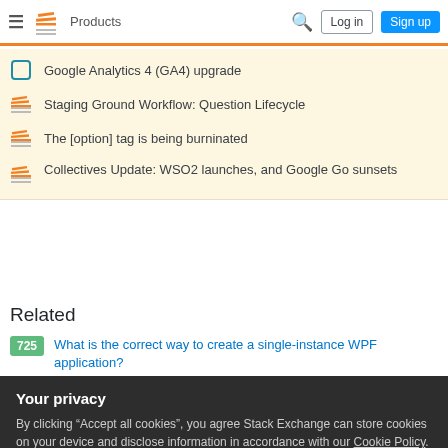≡  [Stack Overflow logo]  Products  🔍  Log in  Sign up
Google Analytics 4 (GA4) upgrade
Staging Ground Workflow: Question Lifecycle
The [option] tag is being burninated
Collectives Update: WSO2 launches, and Google Go sunsets
Related
725  What is the correct way to create a single-instance WPF application?
Your privacy
By clicking "Accept all cookies", you agree Stack Exchange can store cookies on your device and disclose information in accordance with our Cookie Policy.
Accept all cookies  Customize settings
1001  How would you count occurrences of a string (actually a char) within a string?